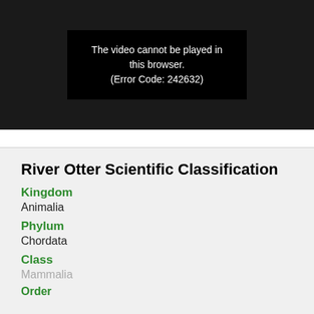[Figure (screenshot): Video player showing error message: 'The video cannot be played in this browser. (Error Code: 242632)']
River Otter Scientific Classification
Kingdom
Animalia
Phylum
Chordata
Class
Mammalia
Order